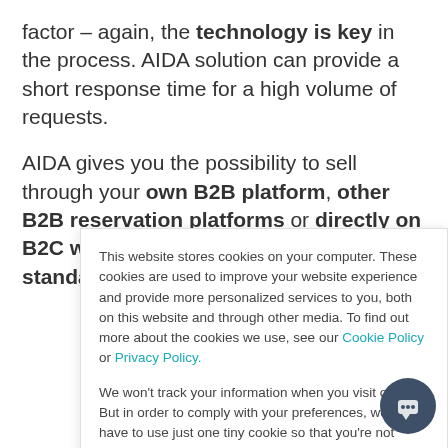factor – again, the technology is key in the process. AIDA solution can provide a short response time for a high volume of requests.
AIDA gives you the possibility to sell through your own B2B platform, other B2B reservation platforms or directly on B2C websites – no matter the channel, the standardized API/ XML provided by
This website stores cookies on your computer. These cookies are used to improve your website experience and provide more personalized services to you, both on this website and through other media. To find out more about the cookies we use, see our Cookie Policy or Privacy Policy.

We won't track your information when you visit our site. But in order to comply with your preferences, we'll have to use just one tiny cookie so that you're not asked to make this choice again.